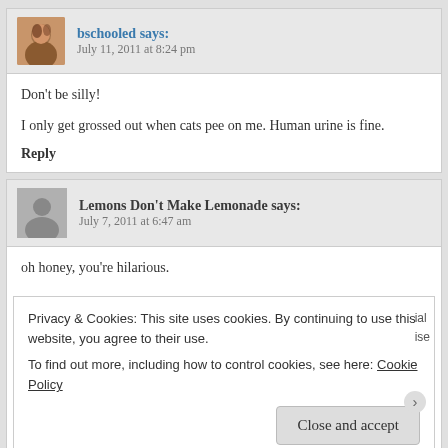bschooled says: July 11, 2011 at 8:24 pm
Don't be silly!
I only get grossed out when cats pee on me. Human urine is fine.
Reply
Lemons Don't Make Lemonade says: July 7, 2011 at 6:47 am
oh honey, you're hilarious.
Privacy & Cookies: This site uses cookies. By continuing to use this website, you agree to their use. To find out more, including how to control cookies, see here: Cookie Policy
Close and accept